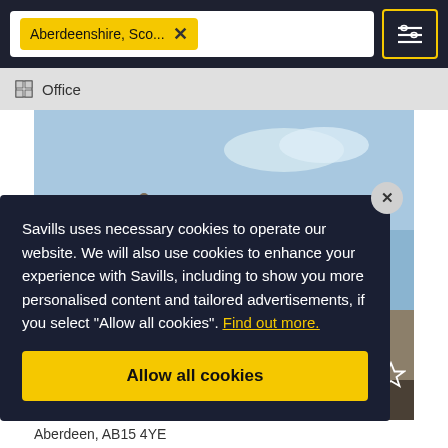[Figure (screenshot): Savills property search website screenshot with Aberdeenshire filter tag in nav bar, office listing below, property photo of historic stone building, cookie consent overlay, and Aberdeen address footer]
Aberdeenshire, Sco...
Office
Savills uses necessary cookies to operate our website. We will also use cookies to enhance your experience with Savills, including to show you more personalised content and tailored advertisements, if you select “Allow all cookies”. Find out more.
Allow all cookies
Aberdeen, AB15 4YE